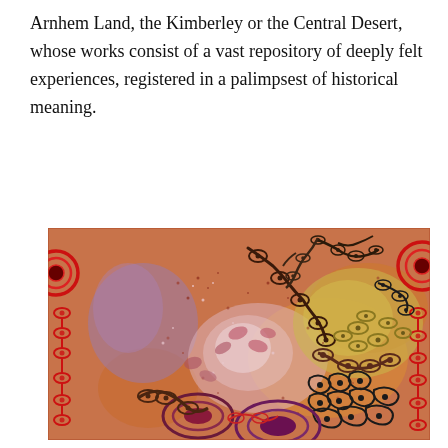Arnhem Land, the Kimberley or the Central Desert, whose works consist of a vast repository of deeply felt experiences, registered in a palimpsest of historical meaning.
[Figure (illustration): Aboriginal Australian dot painting featuring circular and oval motifs, connected curvilinear forms, and dotwork patterns in rich earth tones including red, purple, ochre, orange, pink, and black on a warm background. Bold red concentric circles appear on the left edge, and intricate spiral/oval chain patterns fill the composition.]